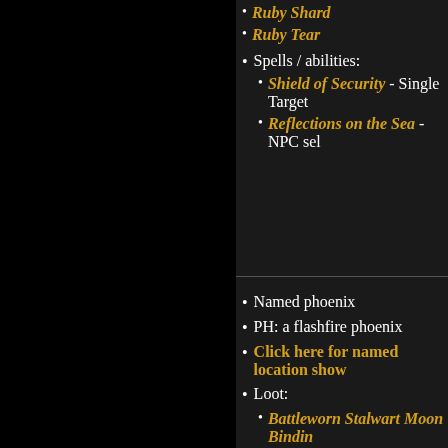Ruby Shard
Ruby Tear
Spells / abilities:
Shield of Security - Single Target
Reflections on the Sea - NPC sel
Named phoenix
PH: a flashfire phoenix
Click here for named location show
Loot:
Battleworn Stalwart Moon Bindin
Glowing Spellbound Lamp
Greater Spellbound Lamp
Lesser Spellbound Lamp
Median Spellbound Lamp
Minor Spellbound Lamp
Phoenix Shard
Scintillating Ribbon of Fire
Whispering Midnight Enhanceme
Spells / abilities: